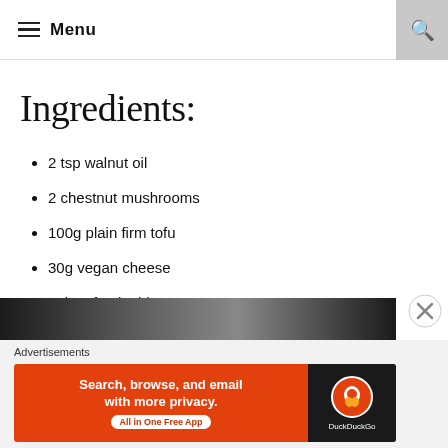Menu
Ingredients:
2 tsp walnut oil
2 chestnut mushrooms
100g plain firm tofu
30g vegan cheese
1 tbsp fresh chives
black pepper, to taste
[Figure (photo): Dark banner image strip at bottom of page, partially visible food photograph]
Advertisements
[Figure (screenshot): DuckDuckGo advertisement banner: 'Search, browse, and email with more privacy. All in One Free App' with DuckDuckGo logo on dark background]